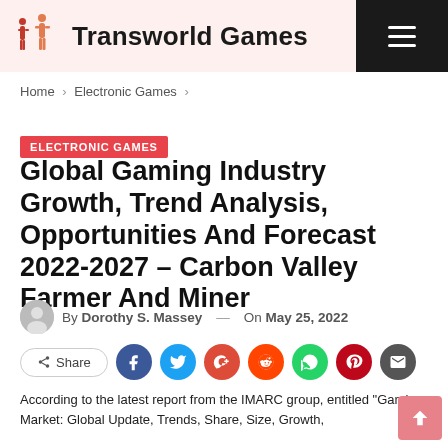Transworld Games
Home > Electronic Games >
ELECTRONIC GAMES
Global Gaming Industry Growth, Trend Analysis, Opportunities And Forecast 2022-2027 – Carbon Valley Farmer And Miner
By Dorothy S. Massey — On May 25, 2022
Share
According to the latest report from the IMARC group, entitled "Gaming Market: Global Update, Trends, Share, Size, Growth,